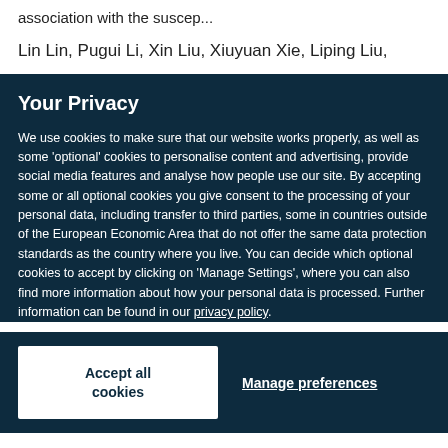association with the suscep...
Lin Lin, Pugui Li, Xin Liu, Xiuyuan Xie, Liping Liu,
Your Privacy
We use cookies to make sure that our website works properly, as well as some 'optional' cookies to personalise content and advertising, provide social media features and analyse how people use our site. By accepting some or all optional cookies you give consent to the processing of your personal data, including transfer to third parties, some in countries outside of the European Economic Area that do not offer the same data protection standards as the country where you live. You can decide which optional cookies to accept by clicking on 'Manage Settings', where you can also find more information about how your personal data is processed. Further information can be found in our privacy policy.
Accept all cookies
Manage preferences